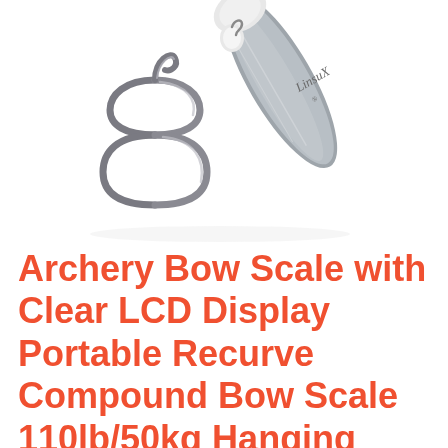[Figure (photo): A handheld luggage/bow scale with a brushed silver-grey body, white trim, and a 'LinsuX' logo engraved on its surface. An S-hook / figure-8 metal hook attachment is shown hanging from the device.]
Archery Bow Scale with Clear LCD Display Portable Recurve Compound Bow Scale 110lb/50kg Hanging Scale